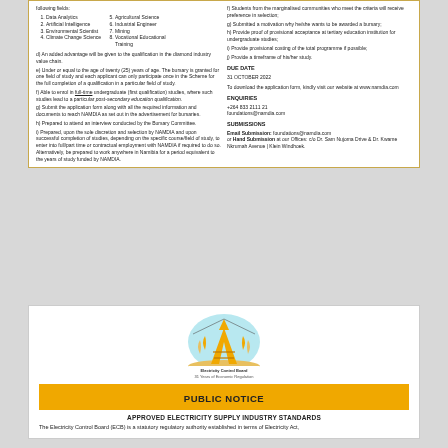following fields:
1. Data Analytics  5. Agricultural Science
2. Artificial Intelligence  6. Industrial Engineer
3. Environmental Scientist  7. Mining
4. Climate Change Science  8. Vocational Educational Training
d) An added advantage will be given to the qualification in the diamond industry value chain.
e) Under or equal to the age of twenty (25) years of age. The bursary is granted for one field of study and each applicant can only participate once in the Scheme for the full completion of a qualification in a particular field of study.
f) Able to enrol in full-time undergraduate (first qualification) studies, where such studies lead to a particular post-secondary education qualification.
g) Submit the application form along with all the required information and documents to reach NAMDIA as set out in the advertisement for bursaries.
h) Prepared to attend an interview conducted by the Bursary Committee.
i) Prepared, upon the sole discretion and selection by NAMDIA and upon successful completion of studies, depending on the specific course/field of study, to enter into full/part time or contractual employment with NAMDIA if required to do so. Alternatively, be prepared to work anywhere in Namibia for a period equivalent to the years of study funded by NAMDIA.
f) Students from the marginalised communities who meet the criteria will receive preference in selection;
g) Submitted a motivation why he/she wants to be awarded a bursary;
h) Provide proof of provisional acceptance at tertiary education institution for undergraduate studies;
i) Provide provisional costing of the total programme if possible;
j) Provide a timeframe of his/her study.
DUE DATE
31 OCTOBER 2022
To download the application form, kindly visit our website at www.namdia.com
ENQUIRIES
+264 833 2111 21
foundations@namdia.com
SUBMISSIONS
Email Submission: foundations@namdia.com
or Hand Submission at our Offices: c/o Dr. Sam Nujoma Drive & Dr. Kwame Nkrumah Avenue | Klein Windhoek.
[Figure (logo): Electricity Control Board logo - circular emblem with lightning tower and wheat/flame design, text reads 'Electricity Control Board - 31 Years of Economic Regulation']
PUBLIC NOTICE
APPROVED ELECTRICITY SUPPLY INDUSTRY STANDARDS
The Electricity Control Board (ECB) is a statutory regulatory authority established in terms of Electricity Act,